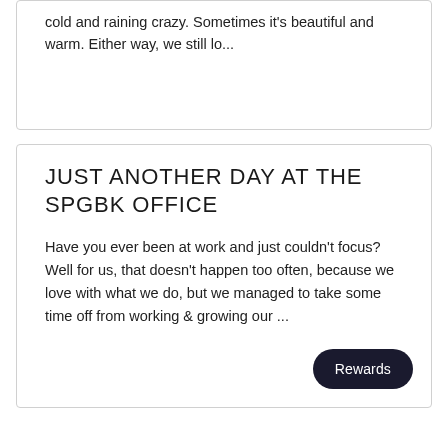cold and raining crazy. Sometimes it's beautiful and warm. Either way, we still lo...
JUST ANOTHER DAY AT THE SPGBK OFFICE
Have you ever been at work and just couldn't focus? Well for us, that doesn't happen too often, because we love with what we do, but we managed to take some time off from working & growing our ...